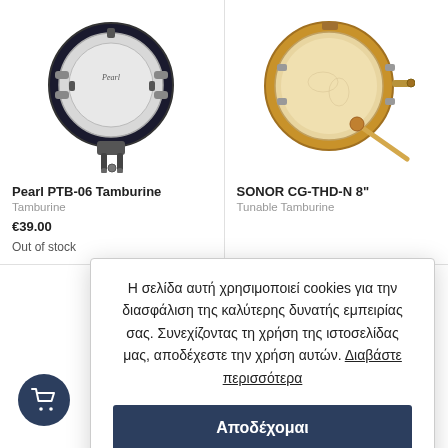[Figure (photo): Pearl PTB-06 black tambourine product photo on white background]
[Figure (photo): SONOR CG-THD-N 8inch wood-frame tunable tamburine with drumstick, product photo on white background]
Pearl PTB-06 Tamburine
SONOR CG-THD-N 8"
Tamburine
Tunable Tamburine
€39.00
Out of stock
Η σελίδα αυτή χρησιμοποιεί cookies για την διασφάλιση της καλύτερης δυνατής εμπειρίας σας. Συνεχίζοντας τη χρήση της ιστοσελίδας μας, αποδέχεστε την χρήση αυτών. Διαβάστε περισσότερα
Αποδέχομαι